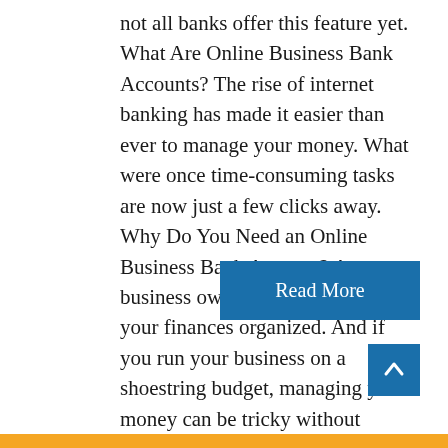not all banks offer this feature yet. What Are Online Business Bank Accounts? The rise of internet banking has made it easier than ever to manage your money. What were once time-consuming tasks are now just a few clicks away. Why Do You Need an Online Business Bank Account? As a business owner, you need to keep your finances organized. And if you run your business on a shoestring budget, managing your money can be tricky without proper software. That's why business owners shouldn't put off opening a bank ...
Read More
[Figure (other): Back to top arrow button, blue square with upward-pointing chevron]